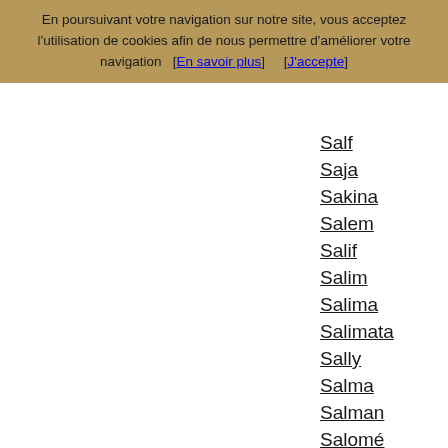En poursuivant votre navigation sur notre site, vous acceptez l'utilisation de cookies afin de nous permettre d'améliorer votre navigation   [En savoir plus]       [J'accepte]
Salf
Saja
Sakina
Salem
Salif
Salim
Salima
Salimata
Sally
Salma
Salman
Salomé
Salomon
Sam
Samantha
Samba
Sami
Samia
Samir
Samira
Samson
Samuel